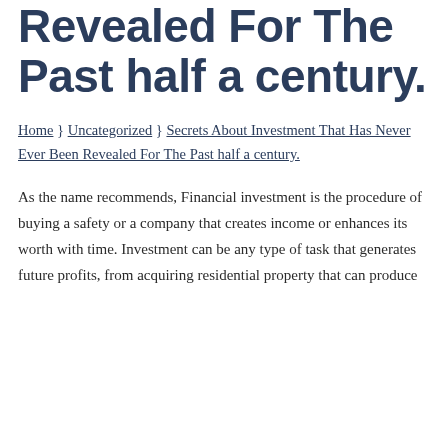Revealed For The Past half a century.
Home } Uncategorized } Secrets About Investment That Has Never Ever Been Revealed For The Past half a century.
As the name recommends, Financial investment is the procedure of buying a safety or a company that creates income or enhances its worth with time. Investment can be any type of task that generates future profits, from acquiring residential property that can produce